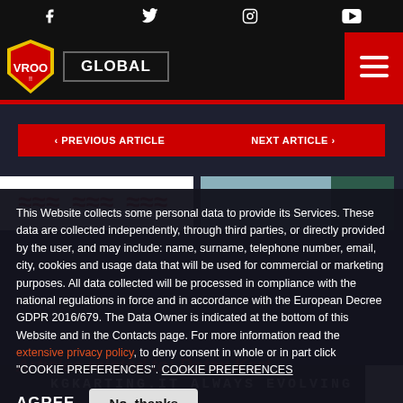Social media icons: Facebook, Twitter, Instagram, YouTube
[Figure (logo): VROO!! shield logo in yellow and red]
GLOBAL
‹ PREVIOUS ARTICLE
NEXT ARTICLE ›
This Website collects some personal data to provide its Services. These data are collected independently, through third parties, or directly provided by the user, and may include: name, surname, telephone number, email, city, cookies and usage data that will be used for commercial or marketing purposes. All data collected will be processed in compliance with the national regulations in force and in accordance with the European Decree GDPR 2016/679. The Data Owner is indicated at the bottom of this Website and in the Contacts page. For more information read the extensive privacy policy, to deny consent in whole or in part click "COOKIE PREFERENCES". COOKIE PREFERENCES
AGREE
No, thanks
Articles related to: Rotax Kart
KGKARTING.IT ALWAYS EVOLVING